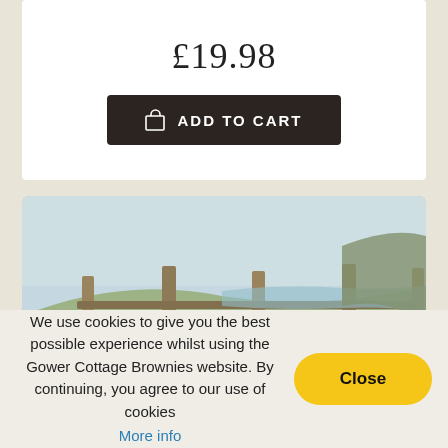£19.98
ADD TO CART
[Figure (photo): Outdoor landscape photo showing a wooden fence with posts in a rural coastal area, with green fields and hills in the background and a small blue sign visible on the fence. In the lower right corner is a brown Gower Cottage Brownies branded board/sign.]
We use cookies to give you the best possible experience whilst using the Gower Cottage Brownies website. By continuing, you agree to our use of cookies
More info
Close